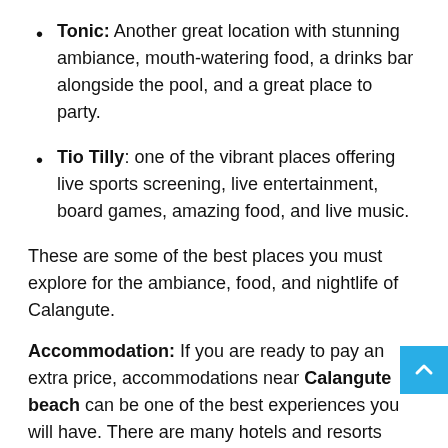Tonic: Another great location with stunning ambiance, mouth-watering food, a drinks bar alongside the pool, and a great place to party.
Tio Tilly: one of the vibrant places offering live sports screening, live entertainment, board games, amazing food, and live music.
These are some of the best places you must explore for the ambiance, food, and nightlife of Calangute.
Accommodation: If you are ready to pay an extra price, accommodations near Calangute beach can be one of the best experiences you will have. There are many hotels and resorts near the beach offering amazing views and top facilities that allow you to enjoy peaceful sea vibes during the night. The sound of sea waves is therapeutic and relaxing. You